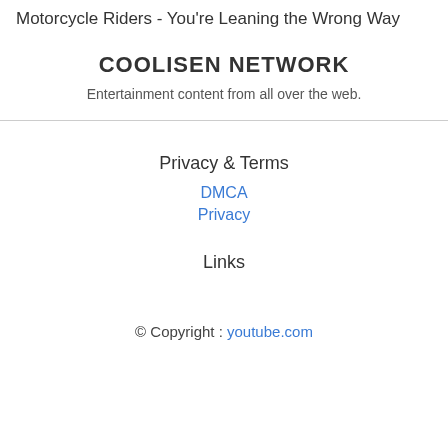Motorcycle Riders - You're Leaning the Wrong Way
COOLISEN NETWORK
Entertainment content from all over the web.
Privacy & Terms
DMCA
Privacy
Links
© Copyright : youtube.com